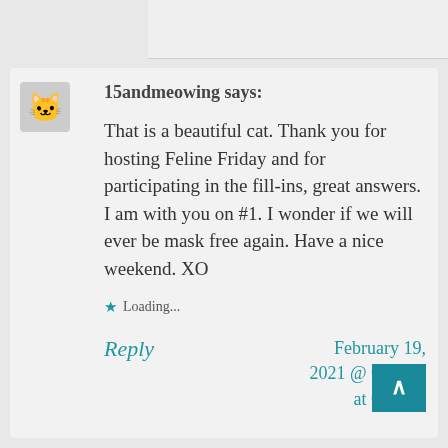15andmeowing says:
That is a beautiful cat. Thank you for hosting Feline Friday and for participating in the fill-ins, great answers. I am with you on #1. I wonder if we will ever be mask free again. Have a nice weekend. XO
Loading...
Reply
February 19, 2021 @ 6:45 at 6:45